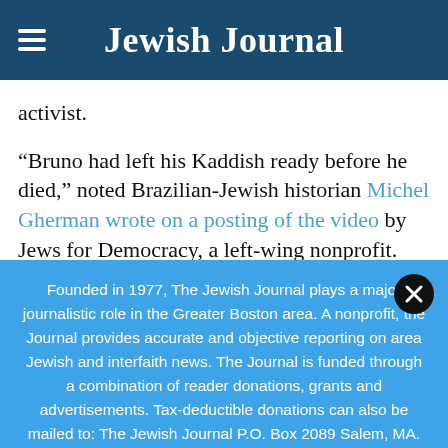Jewish Journal
activist.
“Bruno had left his Kaddish ready before he died,” noted Brazilian-Jewish historian Michel Gherman wrote on a posting of the video by Jews for Democracy, a left-wing nonprofit. “He appears in a
Founded in 1977, The Jewish Journal plays a major journalistic role in the Greater Boston area. A nonprofit, the Journal provides accurate and objective reporting on area Jewish and interfaith news. The Journal is funded through a combination of reader donations, grants and advertisements. Tax-deductible donations can also be mailed to: The Jewish Journal P.O. Box 2089 Salem, MA. 01970
DONATE TODAY